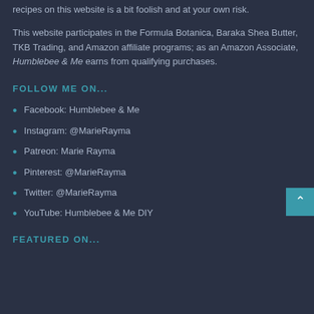recipes on this website is a bit foolish and at your own risk.
This website participates in the Formula Botanica, Baraka Shea Butter, TKB Trading, and Amazon affiliate programs; as an Amazon Associate, Humblebee & Me earns from qualifying purchases.
FOLLOW ME ON...
Facebook: Humblebee & Me
Instagram: @MarieRayma
Patreon: Marie Rayma
Pinterest: @MarieRayma
Twitter: @MarieRayma
YouTube: Humblebee & Me DIY
FEATURED ON...